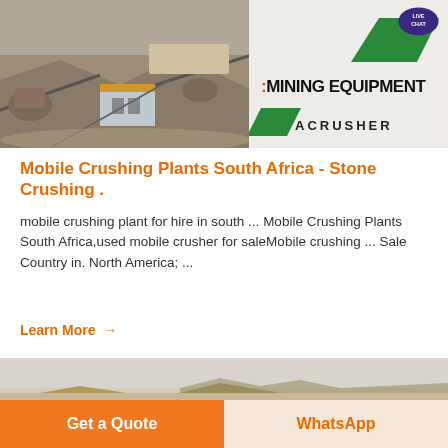[Figure (photo): Aerial view of a mining/crushing plant operation with machinery, conveyors, and a prefab building. Overlaid with a Mining Equipment ACRUSHER logo panel and a Live Chat bubble in the top right corner.]
Mobile Crushing Plants South Africa - Stone Crushing .
mobile crushing plant for hire in south ... Mobile Crushing Plants South Africa,used mobile crusher for saleMobile crushing ... Sale Country in. North America; ...
Learn More →
[Figure (photo): Partial bottom photo of a mining quarry landscape with earth mounds and hazy sky.]
Get a Quote
WhatsApp